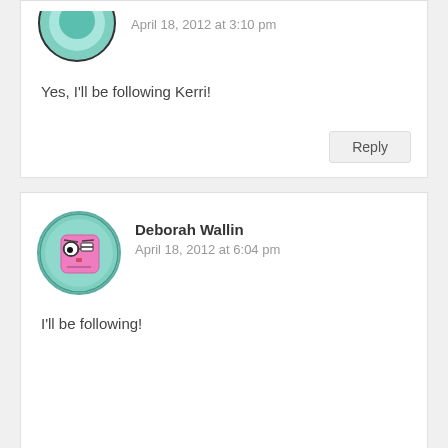[Figure (illustration): Circular avatar, teal/mint background with dark outline, partially cropped at top]
April 18, 2012 at 3:10 pm
Yes, I'll be following Kerri!
Reply
[Figure (illustration): Circular avatar with teal background, pink square cartoon face with glasses, worried expression]
Deborah Wallin
April 18, 2012 at 6:04 pm
I'll be following!
Reply
[Figure (illustration): Circular avatar partially visible at bottom, brown tones, partially cropped]